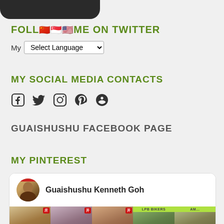[Figure (photo): Dark rounded shape at top of page, partial view of profile image]
FOLLOW ME ON TWITTER
My  [Select Language dropdown]
MY SOCIAL MEDIA CONTACTS
[Figure (infographic): Social media icons: Facebook, Twitter, Instagram, Pinterest, Google+]
GUAISHUSHU FACEBOOK PAGE
MY PINTEREST
[Figure (screenshot): Pinterest widget showing Guaishushu Kenneth Goh profile with food photos]